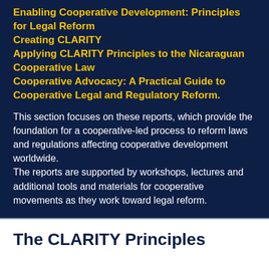Enabling Cooperative Development: Principles for Legal Reform
Creating CLARITY
Applying CLARITY Principles to the Nicaraguan Cooperative Law
Cooperative Advocacy: A Practical Guide to Cooperative Legal and Regulatory Reform.
This section focuses on these reports, which provide the foundation for a cooperative-led process to reform laws and regulations affecting cooperative development worldwide.
The reports are supported by workshops, lectures and additional tools and materials for cooperative movements as they work toward legal reform.
The CLARITY Principles